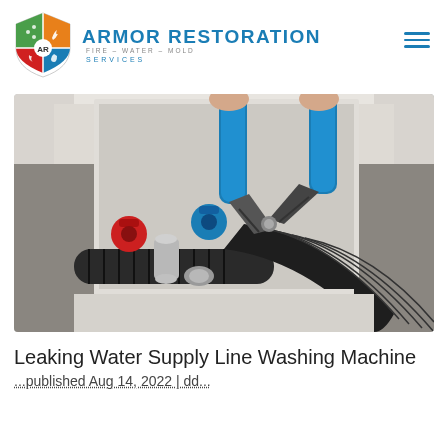ARMOR RESTORATION FIRE-WATER-MOLD SERVICES
[Figure (photo): Close-up photo of a person using blue-handled pliers/bolt cutters to work on washing machine water supply line connections, showing blue and red shutoff valves and black corrugated hoses against a white wall panel]
Leaking Water Supply Line Washing Machine
...published Aug 14, 2022 | dd...